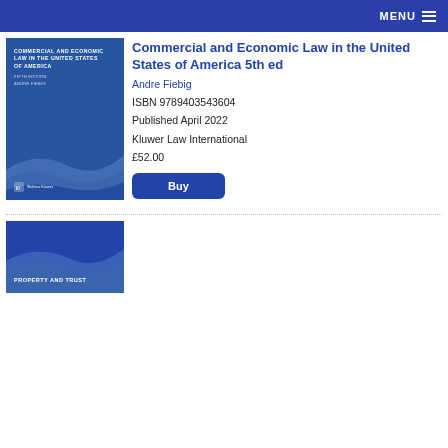MENU
[Figure (illustration): Book cover of Commercial and Economic Law in the United States of America, 5th edition, blue cover with wave design, Kluwer Law International]
Commercial and Economic Law in the United States of America 5th ed
Andre Fiebig
ISBN 9789403543604
Published April 2022
Kluwer Law International
£52.00
Buy
[Figure (illustration): Partial book cover showing 'Property and Trust' text, blue cover, partially visible at bottom of page]